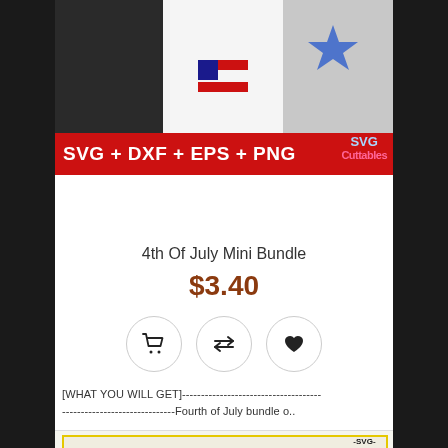[Figure (photo): Product image showing three t-shirts with patriotic/4th of July designs, with a red banner at the bottom showing 'SVG + DXF + EPS + PNG' and SVG Cuttables logo]
4th Of July Mini Bundle
$3.40
[Figure (infographic): Three circular icon buttons: shopping cart, compare arrows, and heart/wishlist]
[WHAT YOU WILL GET]--------------------------------- ----------------------------Fourth of July bundle o..
[Figure (photo): Second product preview image (partially visible) showing a design with yellow frame, silhouette figure, and text -SVG- -PNG- -EPS-]